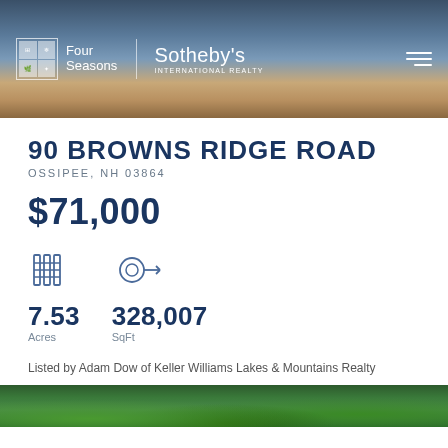[Figure (photo): Four Seasons Sotheby's International Realty header banner with lake scene at dusk, showing a dock with a wicker chair]
90 BROWNS RIDGE ROAD
OSSIPEE, NH 03864
$71,000
7.53 Acres
328,007 SqFt
Listed by Adam Dow of Keller Williams Lakes & Mountains Realty
[Figure (photo): Bottom strip showing trees/forest scene]